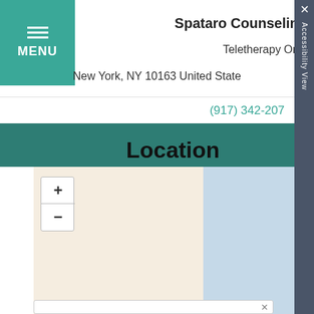MENU
Spataro Counseling
Teletherapy Only
New York, NY 10163 United States
(917) 342-207
Spataro Counseling
We will help you climb as far as
Location
[Figure (map): Interactive map showing location area with land (beige) and water (light blue) tiles, zoom controls (+/-) on left side]
Accessibility View